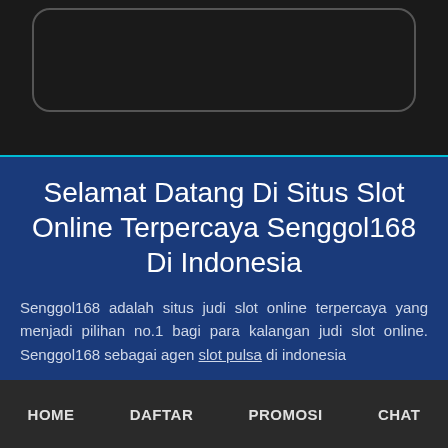[Figure (screenshot): Dark top section with a rounded rectangle outline (empty/placeholder UI element)]
Selamat Datang Di Situs Slot Online Terpercaya Senggol168 Di Indonesia
Senggol168 adalah situs judi slot online terpercaya yang menjadi pilihan no.1 bagi para kalangan judi slot online. Senggol168 sebagai agen slot pulsa di indonesia
HOME   DAFTAR   PROMOSI   CHAT